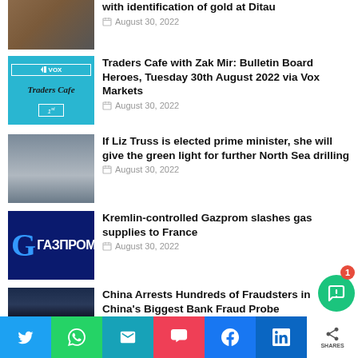...with identification of gold at Ditau
August 30, 2022
Traders Cafe with Zak Mir: Bulletin Board Heroes, Tuesday 30th August 2022 via Vox Markets
August 30, 2022
If Liz Truss is elected prime minister, she will give the green light for further North Sea drilling
August 30, 2022
Kremlin-controlled Gazprom slashes gas supplies to France
August 30, 2022
China Arrests Hundreds of Fraudsters in China's Biggest Bank Fraud Probe
August 30, 2022